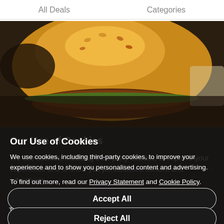All Deals    Categories
[Figure (photo): Close-up photo of a burger with golden-brown bun, visible sesame top, with food items in background, partially visible]
Our Use of Cookies
We use cookies, including third-party cookies, to improve your experience and to show you personalised content and advertising.
To find out more, read our Privacy Statement and Cookie Policy.
Accept All
Two-Course Meal for Up to Four at The Shepherd's ...
High Street, Ewelme • 12.2 km
4.5 ★★★★☆  24 Ratings
Reject All
£21.50  From£15.00  50% Off
For one: two-course meal
My Options